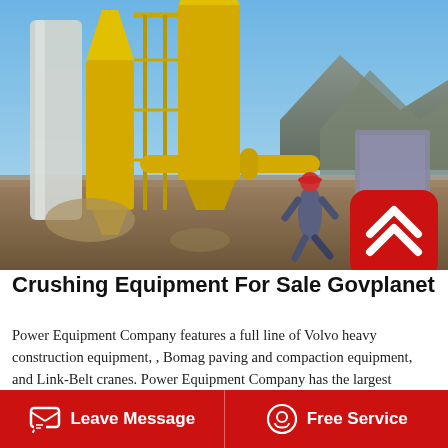[Figure (photo): Industrial crushing/screening equipment with large yellow silos and conveyors at an outdoor mining or quarry site. A worker in a red hard hat is visible. Mountains and blue sky in the background.]
Crushing Equipment For Sale Govplanet
Power Equipment Company features a full line of Volvo heavy construction equipment, , Bomag paving and compaction equipment, and Link-Belt cranes. Power Equipment Company has the largest inventory of crushing and screening equipment in the Rocky Mountain region.
Leave Message   Free Service